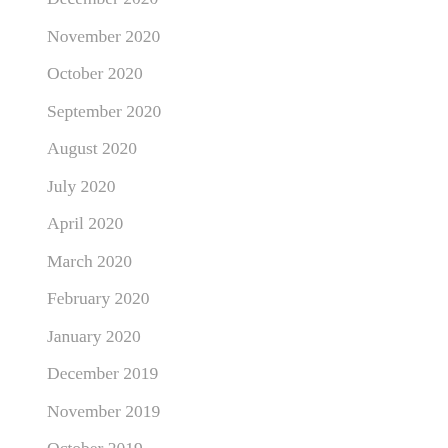December 2020
November 2020
October 2020
September 2020
August 2020
July 2020
April 2020
March 2020
February 2020
January 2020
December 2019
November 2019
October 2019
September 2019
August 2019